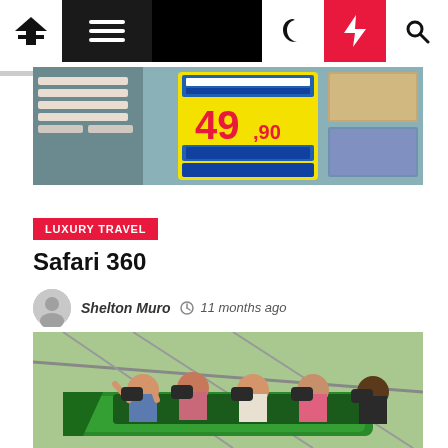Navigation bar with home, menu, moon, lightning, search icons
[Figure (photo): Travel agency storefront with promotional sign showing 'Rio e São Paulo 49,90' in yellow and red]
LUXURY TRAVEL
Safari 360
Shelton Muro  11 months ago
[Figure (photo): People on a green roller coaster ride, screaming and excited, with roller coaster cars visible]